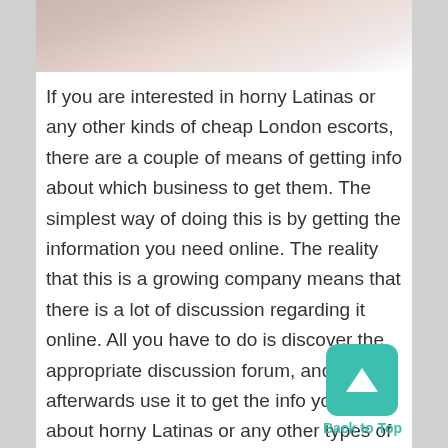[Figure (photo): Partial photo of a person at the top of the page, cropped]
If you are interested in horny Latinas or any other kinds of cheap London escorts, there are a couple of means of getting info about which business to get them. The simplest way of doing this is by getting the information you need online. The reality that this is a growing company means that there is a lot of discussion regarding it online. All you have to do is discover the appropriate discussion forum, and afterwards use it to get the info you need about horny Latinas or any other types of cheap London